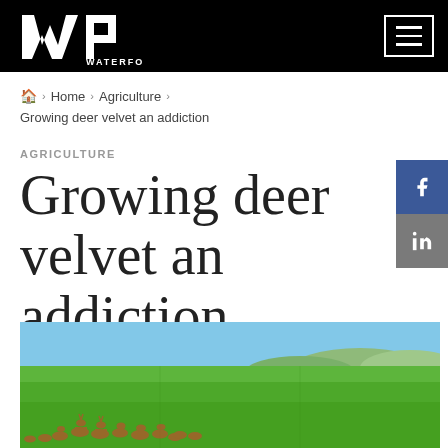WATERFORD PRESS
Home > Agriculture > Growing deer velvet an addiction
AGRICULTURE
Growing deer velvet an addiction
[Figure (photo): A herd of deer on green rolling farmland with hills and blue sky in the background]